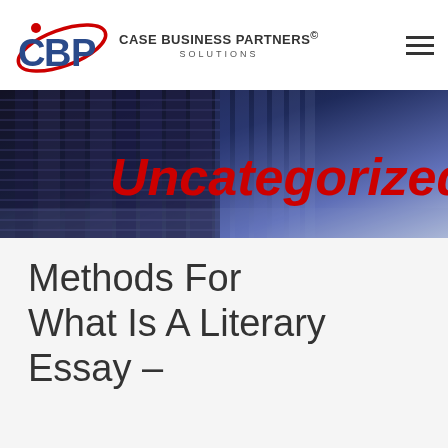[Figure (logo): CBP Case Business Partners Solutions logo with circular orbital design around stylized CBP letters in blue and red]
CASE BUSINESS PARTNERS® SOLUTIONS
[Figure (photo): Banner photo of server racks in a data center with blue lighting perspective, overlaid with red italic text 'Uncategorized']
Methods For What Is A Literary Essay –